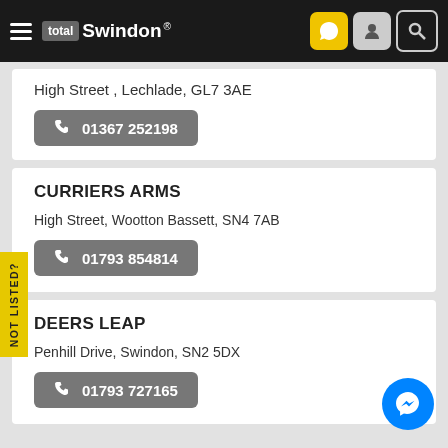total Swindon ®
High Street , Lechlade, GL7 3AE
01367 252198
CURRIERS ARMS
High Street, Wootton Bassett, SN4 7AB
01793 854814
DEERS LEAP
Penhill Drive, Swindon, SN2 5DX
01793 727165